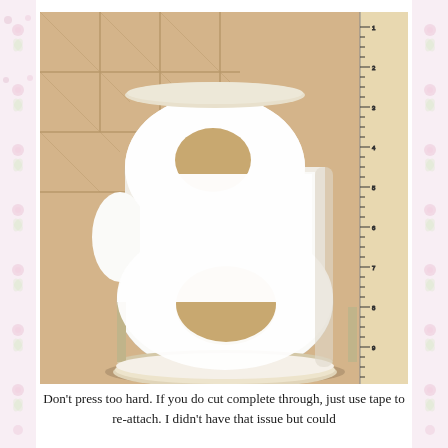[Figure (photo): A white paper mache or cardboard number 8 shape opened up like a box/tray, sitting on a beige tile floor with a wooden measuring stick or ruler visible on the right side.]
Don't press too hard. If you do cut complete through, just use tape to re-attach. I didn't have that issue but could